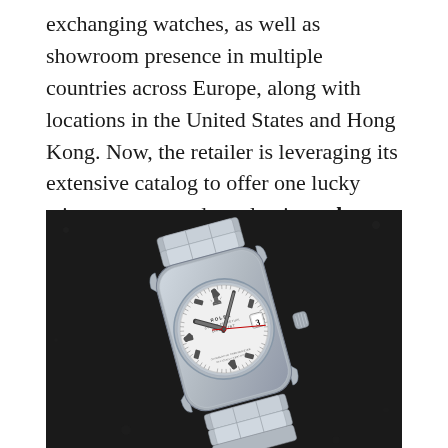exchanging watches, as well as showroom presence in multiple countries across Europe, along with locations in the United States and Hong Kong. Now, the retailer is leveraging its extensive catalog to offer one lucky winner a true modern classic – a luxury fake Rolex Datejust 41.
[Figure (photo): Close-up photograph of a Rolex Oyster Perpetual Datejust 41 watch with white dial, stainless steel case and Oyster bracelet, showing the crown logo, date window at 3 o'clock, and text reading ROLEX OYSTER PERPETUAL DATEJUST, SUPERLATIVE CHRONOMETER OFFICIALLY CERTIFIED, set against a dark background.]